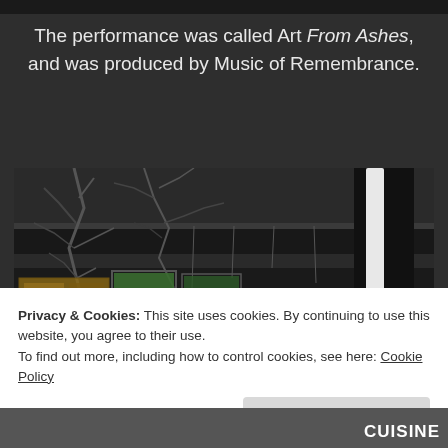The performance was called Art From Ashes, and was produced by Music of Remembrance.
[Figure (photo): Photograph of an outdoor urban scene showing bare tree branches, dark metal structures, and hanging white fabric or ribbons suspended from above, with illuminated windows in the background.]
Privacy & Cookies: This site uses cookies. By continuing to use this website, you agree to their use.
To find out more, including how to control cookies, see here: Cookie Policy